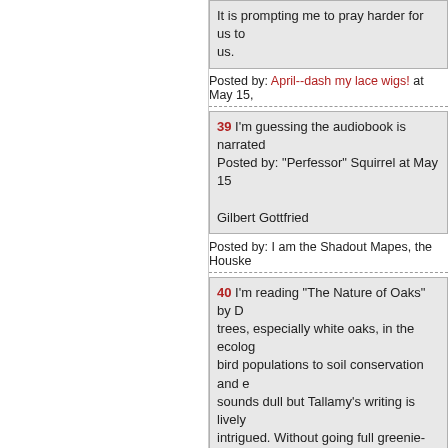It is prompting me to pray harder for us to... us.
Posted by: April--dash my lace wigs! at May 15,
39 I'm guessing the audiobook is narrated... Posted by: "Perfessor" Squirrel at May 15

Gilbert Gottfried
Posted by: I am the Shadout Mapes, the Houseke...
40 I'm reading "The Nature of Oaks" by D... trees, especially white oaks, in the ecology... bird populations to soil conservation and e... sounds dull but Tallamy's writing is lively... intrigued. Without going full greenie-wee... month by month organization of the book... oaks effect nature.
Posted by: JTB at May 15, 2022 09:16 AM (7EjX
41 Last week's mention of Tom Swift and... found a site that describes each of the TSJ...